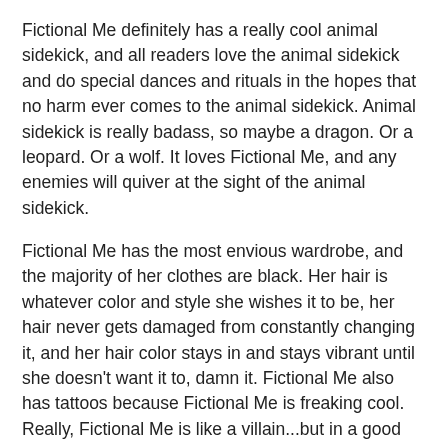Fictional Me definitely has a really cool animal sidekick, and all readers love the animal sidekick and do special dances and rituals in the hopes that no harm ever comes to the animal sidekick. Animal sidekick is really badass, so maybe a dragon. Or a leopard. Or a wolf. It loves Fictional Me, and any enemies will quiver at the sight of the animal sidekick.
Fictional Me has the most envious wardrobe, and the majority of her clothes are black. Her hair is whatever color and style she wishes it to be, her hair never gets damaged from constantly changing it, and her hair color stays in and stays vibrant until she doesn't want it to, damn it. Fictional Me also has tattoos because Fictional Me is freaking cool. Really, Fictional Me is like a villain...but in a good way.
There is a kingdom [strikethrough] queendom. It is a magical and fantasmical fantasy land akin to Neverland (because Neverland) and Morganville, Texas (because that place is like home) and The Enchanted Castle (because that library) and the worlds of Studio Ghibli and Hayao Miyazaki (because they are amazing).